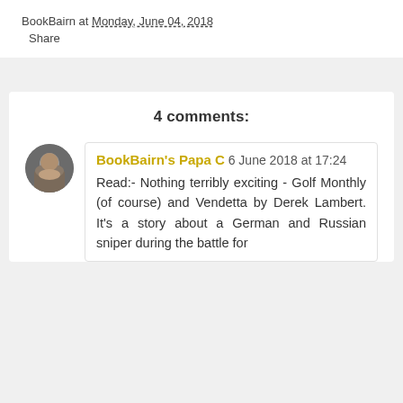BookBairn at Monday, June 04, 2018
Share
4 comments:
BookBairn's Papa C 6 June 2018 at 17:24
Read:- Nothing terribly exciting - Golf Monthly (of course) and Vendetta by Derek Lambert. It's a story about a German and Russian sniper during the battle for